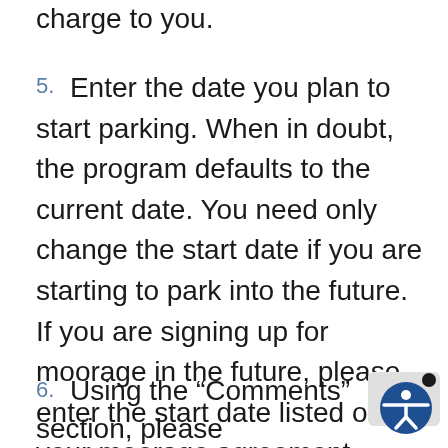charge to you.
5. Enter the date you plan to start parking. When in doubt, the program defaults to the current date. You need only change the start date if you are starting to park into the future. If you are signing up for moorage in the future, please enter the start date listed on your moorage agreement.
6. Using the “Comments” section, please